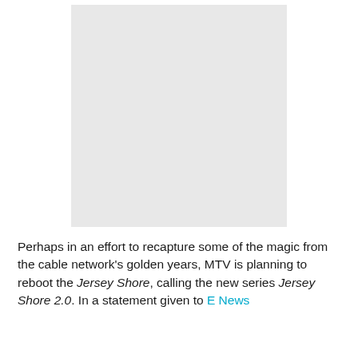[Figure (photo): A gray placeholder image rectangle]
Perhaps in an effort to recapture some of the magic from the cable network's golden years, MTV is planning to reboot the Jersey Shore, calling the new series Jersey Shore 2.0. In a statement given to E News , MTV...